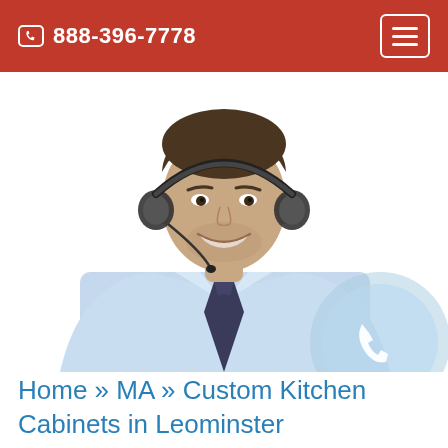📞 888-396-7778
[Figure (photo): A smiling man wearing a headset and a light blue dress shirt with a dark tie, photographed from the chest up against a white background. A phone icon circle overlay appears in the bottom right corner of the image.]
Home » MA » Custom Kitchen Cabinets in Leominster